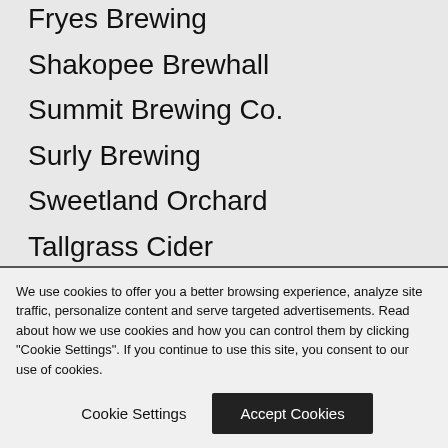Fryes Brewing
Shakopee Brewhall
Summit Brewing Co.
Surly Brewing
Sweetland Orchard
Tallgrass Cider
Torg Brewery
Unmapped Brewing Company
Ursa Minor Brewing
Waconia Brewing Co.
Wooden Hill Brewing
We use cookies to offer you a better browsing experience, analyze site traffic, personalize content and serve targeted advertisements. Read about how we use cookies and how you can control them by clicking "Cookie Settings". If you continue to use this site, you consent to our use of cookies.